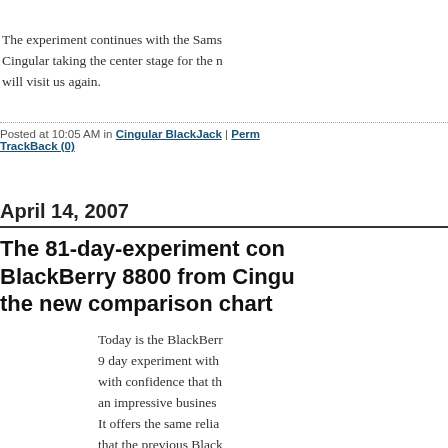The experiment continues with the Samsung BlackJack from Cingular taking the center stage for the next few days. Hope he will visit us again.
Posted at 10:05 AM in Cingular BlackJack | Perm... TrackBack (0)
April 14, 2007
The 81-day-experiment con... BlackBerry 8800 from Cingu... the new comparison chart
Today is the BlackBerr... 9 day experiment with... with confidence that th... an impressive busines... It offers the same relia... that the previous Black...